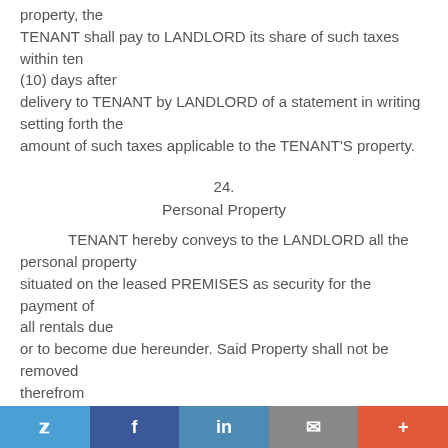property, the TENANT shall pay to LANDLORD its share of such taxes within ten (10) days after delivery to TENANT by LANDLORD of a statement in writing setting forth the amount of such taxes applicable to the TENANT'S property.
24.
Personal Property
TENANT hereby conveys to the LANDLORD all the personal property situated on the leased PREMISES as security for the payment of all rentals due or to become due hereunder. Said Property shall not be removed therefrom without the consent of the LANDLORD, until all rent due or to become due hereunder shall have first been paid and discharged. It is intended by the